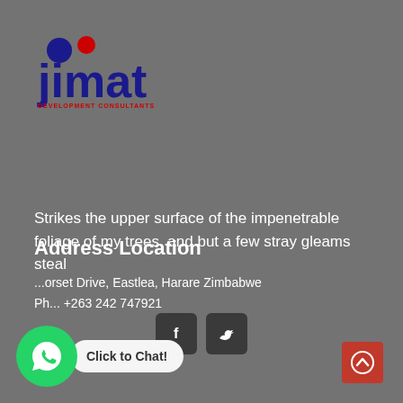[Figure (logo): Jimat Development Consultants logo with blue dot and red dot above stylized blue 'jimat' text and red 'DEVELOPMENT CONSULTANTS' subtitle]
Strikes the upper surface of the impenetrable foliage of my trees, and but a few stray gleams steal
[Figure (infographic): Two dark square social media buttons: Facebook (f) and Twitter (bird icon)]
Address Location
...orset Drive, Eastlea, Harare Zimbabwe
Ph... +263 242 747921
[Figure (infographic): WhatsApp button - green circle with phone icon and 'Click to Chat!' label]
[Figure (infographic): Red scroll-to-top button with upward chevron arrow]